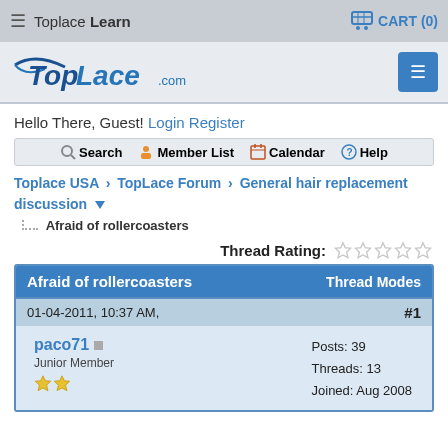☰ Toplace Learn | CART (0)
[Figure (logo): TopLace.com logo with blue stylized text and menu button]
Hello There, Guest! Login Register
Search | Member List | Calendar | Help
Toplace USA › TopLace Forum › General hair replacement discussion ▼
Afraid of rollercoasters
Thread Rating: ☆☆☆☆☆
| Afraid of rollercoasters | Thread Modes |
| --- | --- |
| 01-04-2011, 10:37 AM, | #1 |
| paco71 • Junior Member ★★ | Posts: 39 | Threads: 13 | Joined: Aug 2008 |  |